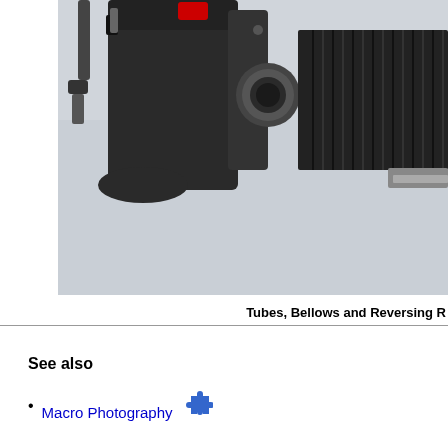[Figure (photo): Photograph of a DSLR camera with a bellows attachment for macro photography, shown against a light grey/white background. The camera body is black, with a red accent, and the bellows is a dark grey accordion-style device attached to the right.]
Tubes, Bellows and Reversing R
See also
Macro Photography